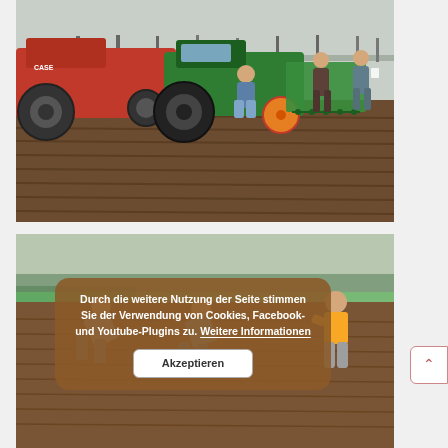[Figure (photo): Agricultural field scene with a green tractor (Fendt) and red tractor (Case), with several people working around seeding equipment on a plowed field. Trees visible in the background.]
[Figure (photo): People bending over and examining a plowed agricultural field. A person in a yellow top is visible on the right. Trees visible in the background.]
Durch die weitere Nutzung der Seite stimmen Sie der Verwendung von Cookies, Facebook- und Youtube-Plugins zu. Weitere Informationen
Akzeptieren